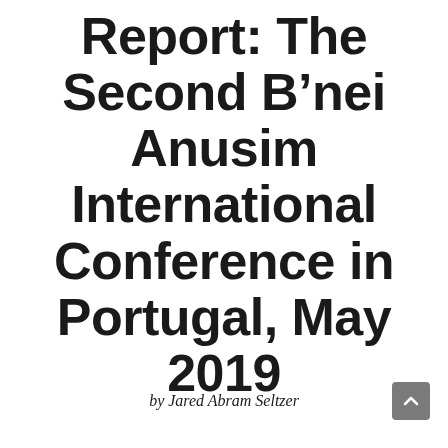Report: The Second B'nei Anusim International Conference in Portugal, May 2019
by Jared Abram Seltzer